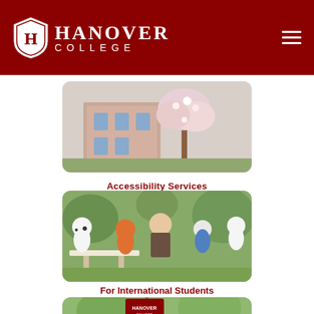Hanover College
[Figure (photo): Campus building with flowering tree blossoms in spring — Accessibility Services link image]
Accessibility Services
[Figure (photo): Students at an outdoor campus event, some wearing cow-print shirts, a student in the foreground smiling — For International Students link image]
For International Students
[Figure (photo): Hanover College banner on a lamppost surrounded by green trees — partial image at bottom of page]